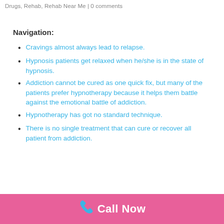Drugs, Rehab, Rehab Near Me | 0 comments
Navigation:
Cravings almost always lead to relapse.
Hypnosis patients get relaxed when he/she is in the state of hypnosis.
Addiction cannot be cured as one quick fix, but many of the patients prefer hypnotherapy because it helps them battle against the emotional battle of addiction.
Hypnotherapy has got no standard technique.
There is no single treatment that can cure or recover all patient from addiction.
Call Now